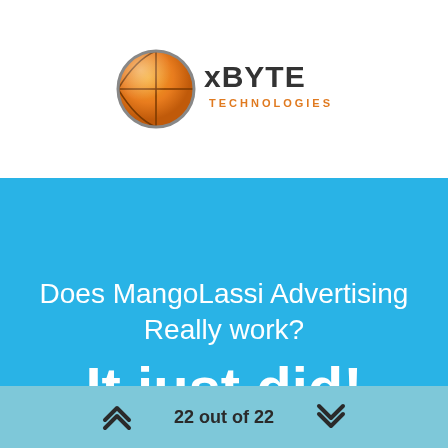[Figure (logo): xByte Technologies logo with orange basketball-like sphere and gray/black text 'xBYTE' with orange 'TECHNOLOGIES' below]
Does MangoLassi Advertising Really work? It just did!
22 out of 22